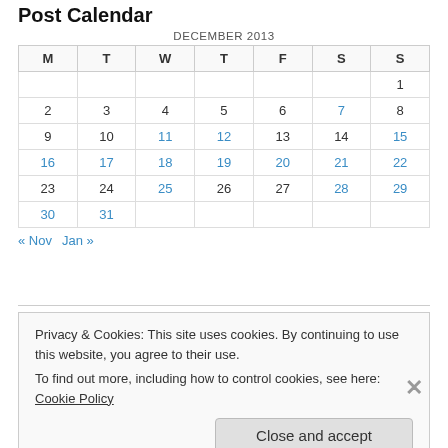Post Calendar
| M | T | W | T | F | S | S |
| --- | --- | --- | --- | --- | --- | --- |
|  |  |  |  |  |  | 1 |
| 2 | 3 | 4 | 5 | 6 | 7 | 8 |
| 9 | 10 | 11 | 12 | 13 | 14 | 15 |
| 16 | 17 | 18 | 19 | 20 | 21 | 22 |
| 23 | 24 | 25 | 26 | 27 | 28 | 29 |
| 30 | 31 |  |  |  |  |  |
« Nov   Jan »
Privacy & Cookies: This site uses cookies. By continuing to use this website, you agree to their use.
To find out more, including how to control cookies, see here: Cookie Policy
Close and accept